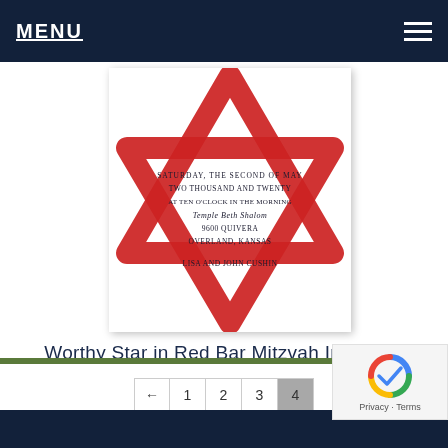MENU
[Figure (illustration): Bar Mitzvah invitation card with a red Star of David graphic and invitation text including date Saturday the second of May, Two thousand and twenty, at ten o'clock in the morning, Temple Beth Shalom, 9600 Quivera, Overland, Kansas, Lisa and John Cushin]
Worthy Star in Red Bar Mitzvah Invitation
← 1 2 3 4
Privacy · Terms